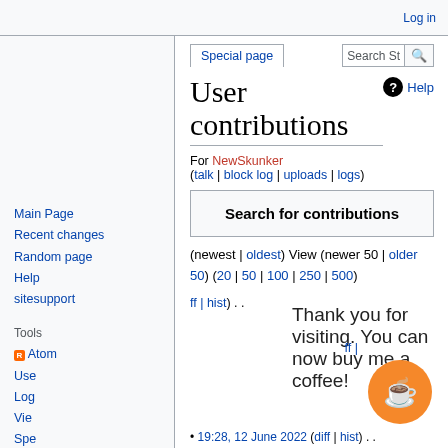Log in
Special page
User contributions
For NewSkunker (talk | block log | uploads | logs)
Search for contributions
(newest | oldest) View (newer 50 | older 50) (20 | 50 | 100 | 250 | 500)
ff | hist) . .
Thank you for visiting. You can now buy me a coffee!
19:28, 12 June 2022 (diff | hist) . .